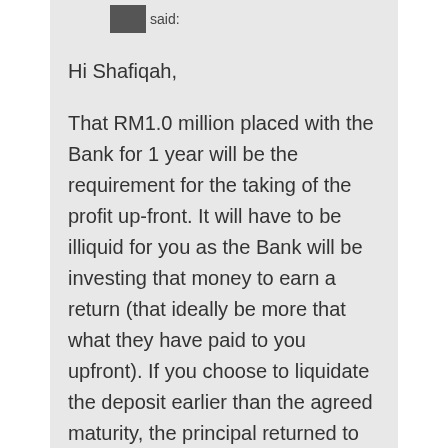said:
Hi Shafiqah,
That RM1.0 million placed with the Bank for 1 year will be the requirement for the taking of the profit up-front. It will have to be illiquid for you as the Bank will be investing that money to earn a return (that ideally be more that what they have paid to you upfront). If you choose to liquidate the deposit earlier than the agreed maturity, the principal returned to you will be the net figure of RM1.0 million less profit up-front (assuming the contract is not tagged to mark-to-market valuation). Technically you will just receive a total of your full principal and with no profit...